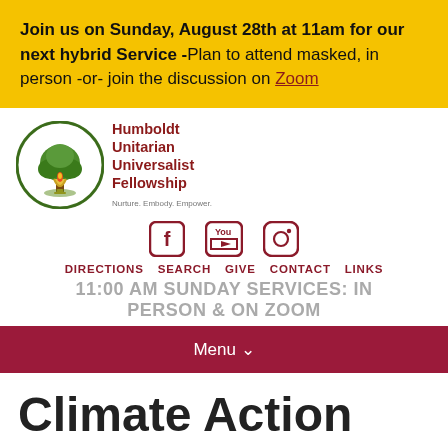Join us on Sunday, August 28th at 11am for our next hybrid Service -Plan to attend masked, in person -or- join the discussion on Zoom
[Figure (logo): Humboldt Unitarian Universalist Fellowship logo with circular emblem and red text. Tagline: Nurture. Embody. Empower.]
[Figure (infographic): Social media icons: Facebook, YouTube, Instagram in dark red/maroon color]
DIRECTIONS  SEARCH  GIVE  CONTACT  LINKS
11:00 AM SUNDAY SERVICES: IN PERSON & ON ZOOM
Menu ∨
Climate Action Committee